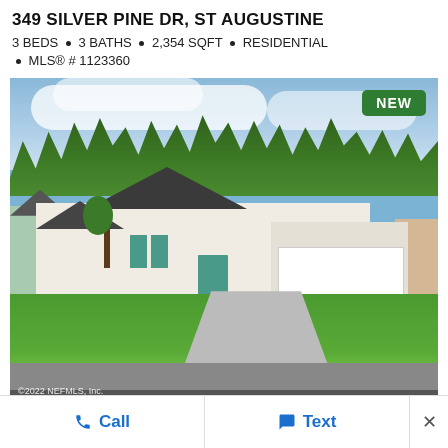349 SILVER PINE DR, ST AUGUSTINE
3 BEDS • 3 BATHS • 2,354 SQFT • RESIDENTIAL
• MLS® # 1123360
[Figure (photo): Exterior photo of a single-story residential home with white siding, teal front door, two-car garage, concrete driveway, green lawn, and trees in background. 'NEW' badge in upper right corner. ©2022 NEFMLS, Inc. watermark.]
Call
Text